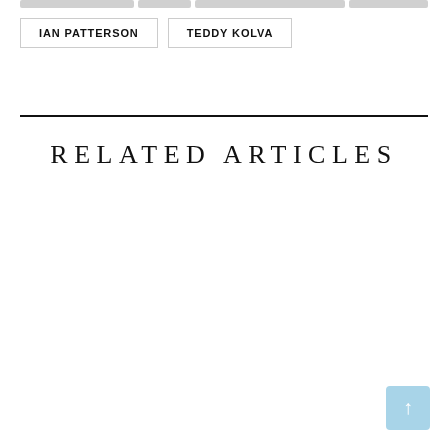IAN PATTERSON
TEDDY KOLVA
RELATED ARTICLES